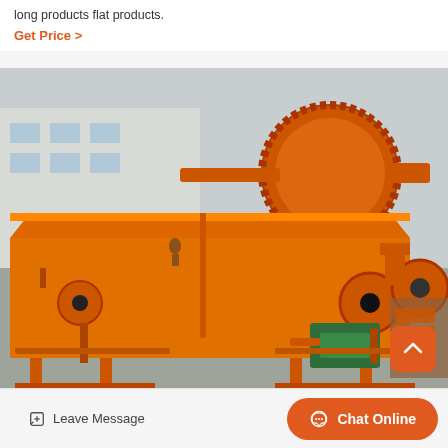long products flat products.
Get Price >
[Figure (photo): Large orange industrial vibratory feeder / conveyor machine photographed outdoors in a factory yard. A large orange ball mill with gear ring is visible in the background. The foreground machine has a rectangular hopper body mounted on a steel frame with legs, and a green gearbox motor assembly on the right side.]
Leave Message
Chat Online